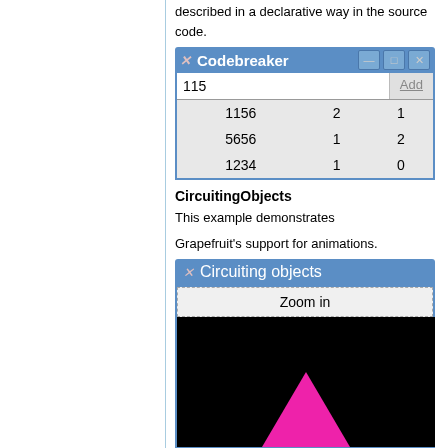described in a declarative way in the source code.
[Figure (screenshot): Codebreaker application window showing an input field with '115', an Add button, and a table with rows: 1156 2 1, 5656 1 2, 1234 1 0]
CircuitingObjects
This example demonstrates
Grapefruit's support for animations.
[Figure (screenshot): Circuiting objects application window with a Zoom in button and a black canvas area showing a pink/magenta triangle shape at the bottom center]